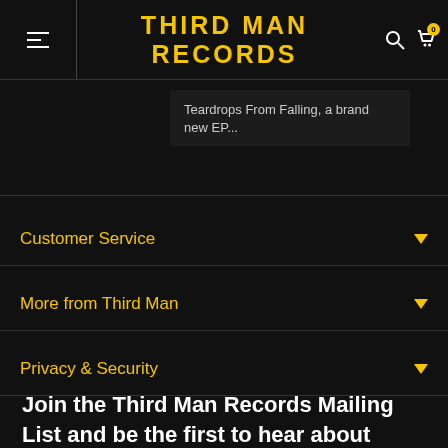THIRD MAN RECORDS
Teardrops From Falling, a brand new EP...
Customer Service
More from Third Man
Privacy & Security
Join the Third Man Records Mailing List and be the first to hear about news, sales, releases and